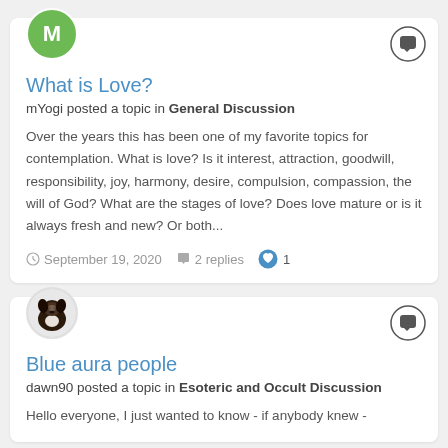What is Love?
mYogi posted a topic in General Discussion
Over the years this has been one of my favorite topics for contemplation. What is love? Is it interest, attraction, goodwill, responsibility, joy, harmony, desire, compulsion, compassion, the will of God? What are the stages of love? Does love mature or is it always fresh and new? Or both...
September 19, 2020   2 replies   1
Blue aura people
dawn90 posted a topic in Esoteric and Occult Discussion
Hello everyone, I just wanted to know - if anybody knew -